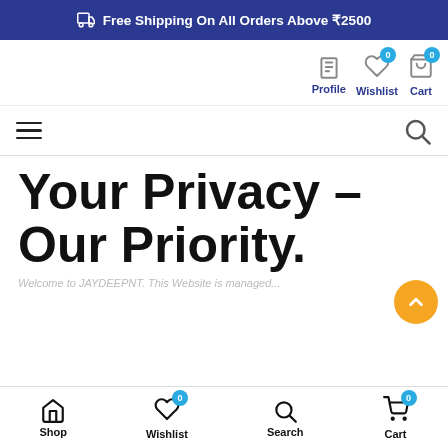Free Shipping On All Orders Above ₹2500
Profile  Wishlist  Cart
Menu / Search bar
Your Privacy – Our Priority.
Welcome to JAYDEEPNT. This Website is managed...
Shop  Wishlist  Search  Cart